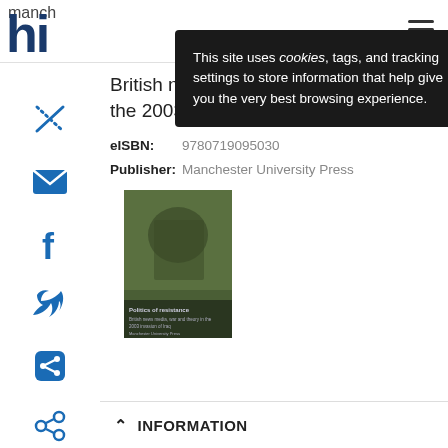[Figure (screenshot): Manchester University Press website header with logo 'manch' and large blue 'hi' letters, hamburger menu icon top right]
This site uses cookies, tags, and tracking settings to store information that help give you the very best browsing experience.
British news media, war and theory in the 2003 invasion of Iraq
eISBN: 9780719095030
Publisher: Manchester University Press
[Figure (photo): Book cover showing soldiers, titled 'Politics of resistance: British news media, war and theory in the 2003 invasion of Iraq']
INFORMATION